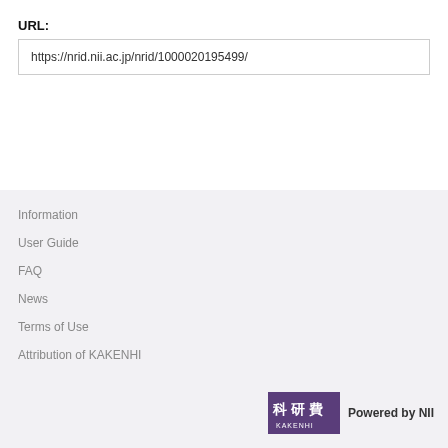URL:
https://nrid.nii.ac.jp/nrid/1000020195499/
Information
User Guide
FAQ
News
Terms of Use
Attribution of KAKENHI
[Figure (logo): KAKENHI logo with Japanese text 科研費 and KAKENHI text, purple background. Followed by 'Powered by NII' text.]